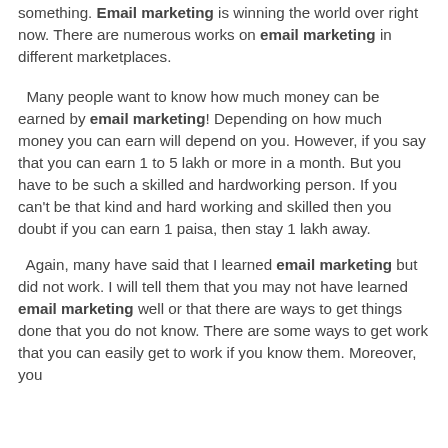something. Email marketing is winning the world over right now. There are numerous works on email marketing in different marketplaces.
Many people want to know how much money can be earned by email marketing! Depending on how much money you can earn will depend on you. However, if you say that you can earn 1 to 5 lakh or more in a month. But you have to be such a skilled and hardworking person. If you can't be that kind and hard working and skilled then you doubt if you can earn 1 paisa, then stay 1 lakh away.
Again, many have said that I learned email marketing but did not work. I will tell them that you may not have learned email marketing well or that there are ways to get things done that you do not know. There are some ways to get work that you can easily get to work if you know them. Moreover, you